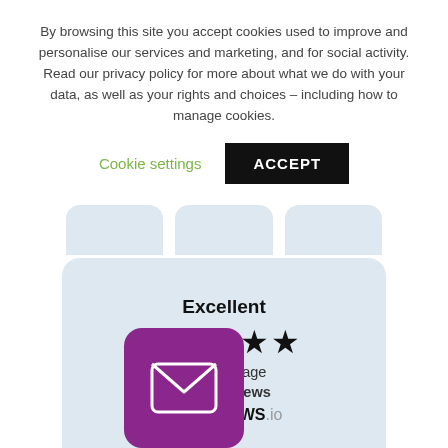By browsing this site you accept cookies used to improve and personalise our services and marketing, and for social activity. Read our privacy policy for more about what we do with your data, as well as your rights and choices – including how to manage cookies.
Cookie settings   ACCEPT
[Figure (other): Review widget card showing Excellent rating, 5 stars, 4.92 average, 2,980 reviews on REVIEWS.io, with a purple email icon in the bottom left]